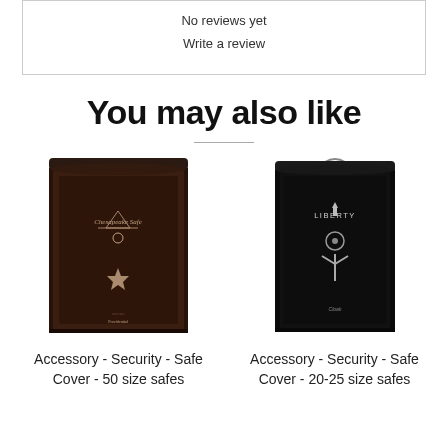No reviews yet
Write a review
You may also like
[Figure (photo): Photo of a dark brown/black safe cover for 50 size safes (Chesapeake Safe brand cover shown)]
Accessory - Security - Safe Cover - 50 size safes
[Figure (photo): Photo of a black safe cover for 20-25 size safes (Liberty brand cover shown)]
Accessory - Security - Safe Cover - 20-25 size safes